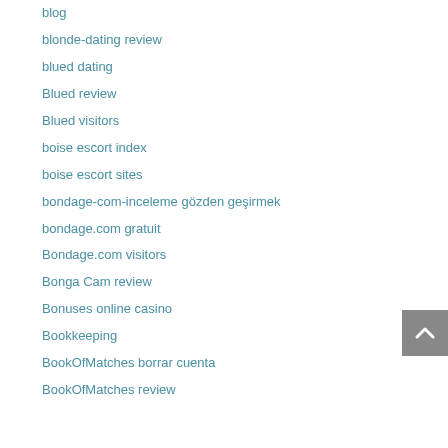blog
blonde-dating review
blued dating
Blued review
Blued visitors
boise escort index
boise escort sites
bondage-com-inceleme gözden geçirmek
bondage.com gratuit
Bondage.com visitors
Bonga Cam review
Bonuses online casino
Bookkeeping
BookOfMatches borrar cuenta
BookOfMatches review